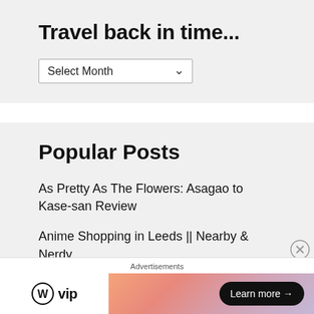Travel back in time...
Select Month
Popular Posts
As Pretty As The Flowers: Asagao to Kase-san Review
Anime Shopping in Leeds || Nearby & Nerdy
The Fullmetal Alchemist Movies aren't great...
Advertisements
[Figure (logo): WordPress VIP logo with circle W icon and 'vip' text, alongside an advertisement banner with gradient background and 'Learn more →' button]